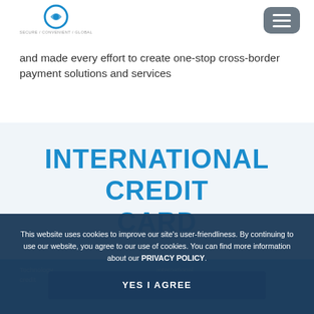SECURE / CONVENIENT / GLOBAL
and made every effort to create one-stop cross-border payment solutions and services
INTERNATIONAL CREDIT CARD
This website uses cookies to improve our site’s user-friendliness. By continuing to use our website, you agree to our use of cookies. You can find more information about our PRIVACY POLICY.
YES I AGREE